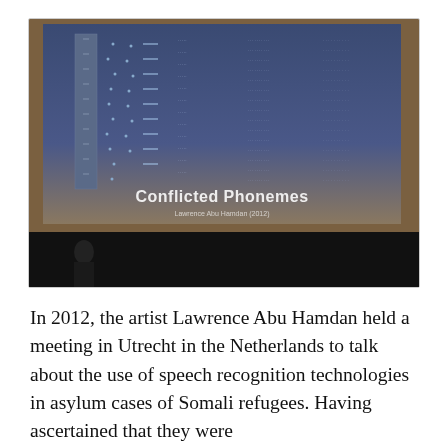[Figure (photo): Photograph of a presentation screen showing a data visualization project titled 'Conflicted Phonemes' by Lawrence Abu Hamdan (2012). The slide shows complex data grids. A presenter's silhouette is visible at the bottom of the image.]
In 2012, the artist Lawrence Abu Hamdan held a meeting in Utrecht in the Netherlands to talk about the use of speech recognition technologies in asylum cases of Somali refugees. Having ascertained that they were